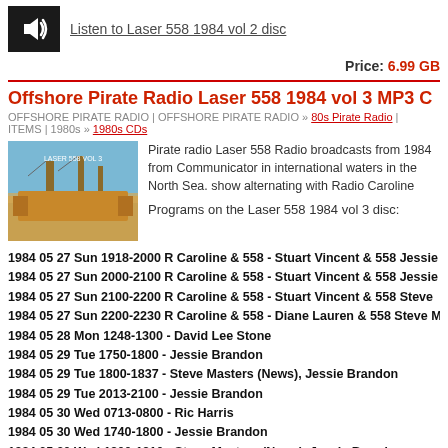Listen to Laser 558 1984 vol 2 disc
Price: 6.99 GB
Offshore Pirate Radio Laser 558 1984 vol 3 MP3 C
OFFSHORE PIRATE RADIO | OFFSHORE PIRATE RADIO » 80s Pirate Radio | ITEMS | 1980s » 1980s CDs
Pirate radio Laser 558 Radio broadcasts from 1984 from Communicator in international waters in the North Sea. show alternating with Radio Caroline

Programs on the Laser 558 1984 vol 3 disc:
1984 05 27 Sun 1918-2000 R Caroline & 558 - Stuart Vincent & 558 Jessie
1984 05 27 Sun 2000-2100 R Caroline & 558 - Stuart Vincent & 558 Jessie
1984 05 27 Sun 2100-2200 R Caroline & 558 - Stuart Vincent & 558 Steve
1984 05 27 Sun 2200-2230 R Caroline & 558 - Diane Lauren & 558 Steve M
1984 05 28 Mon 1248-1300 - David Lee Stone
1984 05 29 Tue 1750-1800 - Jessie Brandon
1984 05 29 Tue 1800-1837 - Steve Masters (News), Jessie Brandon
1984 05 29 Tue 2013-2100 - Jessie Brandon
1984 05 30 Wed 0713-0800 - Ric Harris
1984 05 30 Wed 1740-1800 - Jessie Brandon
1984 05 30 Wed 1800-1810 - Steve Masters (News), Jessie Brandon
1984 05 31 Thu 1235-1300 - David Lee Stone
1984 05 31 Thu 1932-2000 - Jessie Brandon
1984 05 31 Thu 2000-2105 - Jessie Brandon, Steve Masters
1984 07 17 Tue 1640-1740 - Tommy Rivers
1984 08 04 Sat 1225-1300 - Holly Michaels
1984 08 04 Sat 1300-1310 - Tommy Rivers